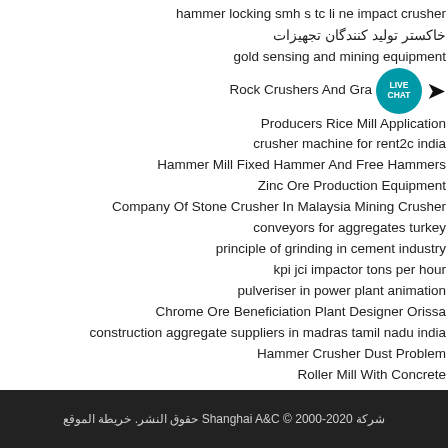hammer locking smh s tc li ne impact crusher
خاکستر تولید کنندگان تجهیزات
gold sensing and mining equipment
Rock Crushers And Gravel
Producers Rice Mill Application
crusher machine for rent2c india
Hammer Mill Fixed Hammer And Free Hammers
Zinc Ore Production Equipment
Company Of Stone Crusher In Malaysia Mining Crusher
conveyors for aggregates turkey
principle of grinding in cement industry
kpi jci impactor tons per hour
pulveriser in power plant animation
Chrome Ore Beneficiation Plant Designer Orissa
construction aggregate suppliers in madras tamil nadu india
Hammer Crusher Dust Problem
Roller Mill With Concrete
exetec cone x44 specs
شركة Shanghai A&C © 2000-2020 حقوق النشر. خريطة الموقع